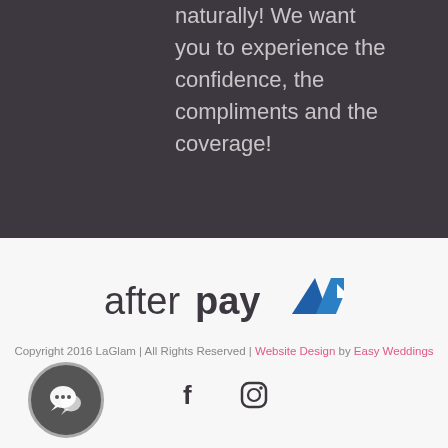naturally! We want you to experience the confidence, the compliments and the coverage!
[Figure (logo): Afterpay logo with wordmark and arrow symbol]
Copyright 2016 LaGlam | All Rights Reserved | Website Design by Easy Weddings
[Figure (other): Social media icons: Facebook and Instagram]
[Figure (other): Chat button widget in bottom left corner]